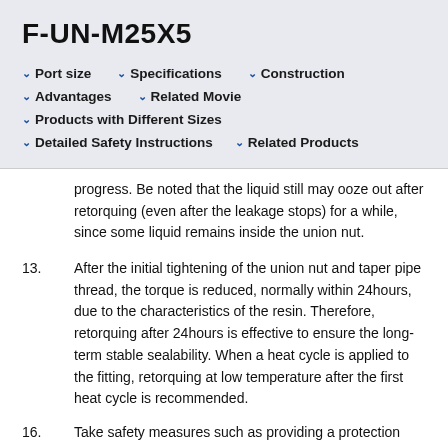F-UN-M25X5
Port size
Specifications
Construction
Advantages
Related Movie
Products with Different Sizes
Detailed Safety Instructions
Related Products
progress. Be noted that the liquid still may ooze out after retorquing (even after the leakage stops) for a while, since some liquid remains inside the union nut.
13. After the initial tightening of the union nut and taper pipe thread, the torque is reduced, normally within 24hours, due to the characteristics of the resin. Therefore, retorquing after 24hours is effective to ensure the long-term stable sealability. When a heat cycle is applied to the fitting, retorquing at low temperature after the first heat cycle is recommended.
16. Take safety measures such as providing a protection cover if